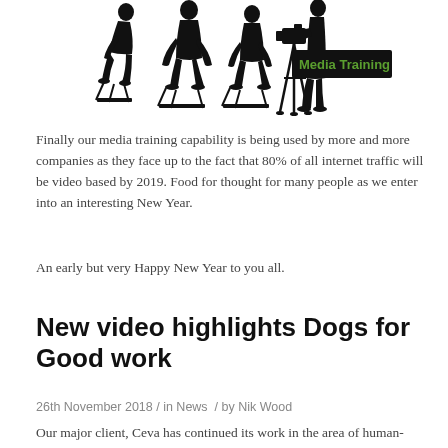[Figure (illustration): Silhouettes of three people in an interview/panel setting (two seated, one standing), plus a person operating a video camera on a tripod. A dark banner reads 'Media Training' in green text.]
Finally our media training capability is being used by more and more companies as they face up to the fact that 80% of all internet traffic will be video based by 2019. Food for thought for many people as we enter into an interesting New Year.
An early but very Happy New Year to you all.
New video highlights Dogs for Good work
26th November 2018 / in News / by Nik Wood
Our major client, Ceva has continued its work in the area of human-animal interaction by sponsoring a series of high